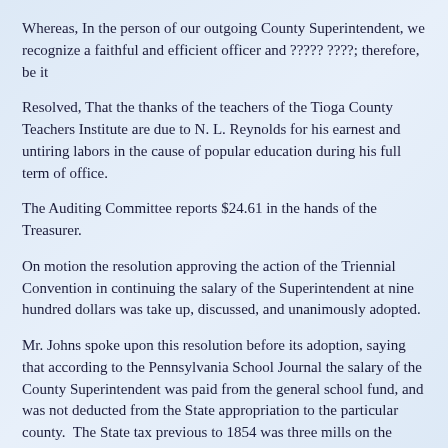Whereas, In the person of our outgoing County Superintendent, we recognize a faithful and efficient officer and ????? ????; therefore, be it
Resolved, That the thanks of the teachers of the Tioga County Teachers Institute are due to N. L. Reynolds for his earnest and untiring labors in the cause of popular education during his full term of office.
The Auditing Committee reports $24.61 in the hands of the Treasurer.
On motion the resolution approving the action of the Triennial Convention in continuing the salary of the Superintendent at nine hundred dollars was take up, discussed, and unanimously adopted.
Mr. Johns spoke upon this resolution before its adoption, saying that according to the Pennsylvania School Journal the salary of the County Superintendent was paid from the general school fund, and was not deducted from the State appropriation to the particular county.  The State tax previous to 1854 was three mills on the dollar, since that time it had been only two and a half mills.  He thought the money would be profitably expended even if Tioga County had to bear the whole expense of supporting her Superintendent.